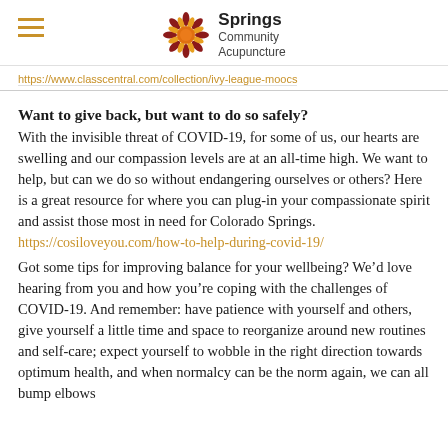Springs Community Acupuncture
https://www.classcentral.com/collection/ivy-league-moocs
Want to give back, but want to do so safely?
With the invisible threat of COVID-19, for some of us, our hearts are swelling and our compassion levels are at an all-time high. We want to help, but can we do so without endangering ourselves or others? Here is a great resource for where you can plug-in your compassionate spirit and assist those most in need for Colorado Springs.
https://cosiloveyou.com/how-to-help-during-covid-19/
Got some tips for improving balance for your wellbeing? We’d love hearing from you and how you’re coping with the challenges of COVID-19. And remember: have patience with yourself and others, give yourself a little time and space to reorganize around new routines and self-care; expect yourself to wobble in the right direction towards optimum health, and when normalcy can be the norm again, we can all bump elbows